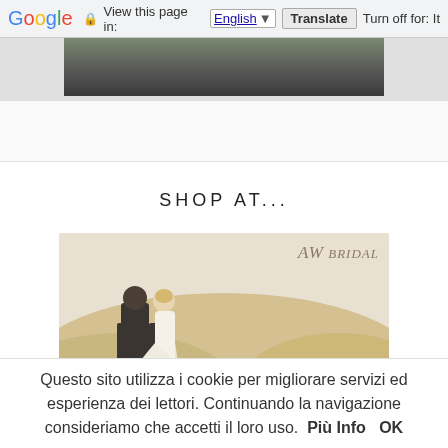Google  View this page in: English [▼]  Translate  Turn off for: It
[Figure (photo): Partial photo at top of page, appears to show an outdoor scene]
SHOP AT...
[Figure (photo): AW Bridal advertisement showing a couple walking in desert sand dunes, with text: Customized Wedding Party Dresses]
Questo sito utilizza i cookie per migliorare servizi ed esperienza dei lettori. Continuando la navigazione consideriamo che accetti il loro uso.  Più Info  OK